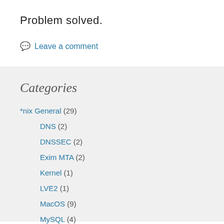Problem solved.
💬 Leave a comment
Categories
*nix General (29)
DNS (2)
DNSSEC (2)
Exim MTA (2)
Kernel (1)
LVE2 (1)
MacOS (9)
MySQL (4)
nginx (1)